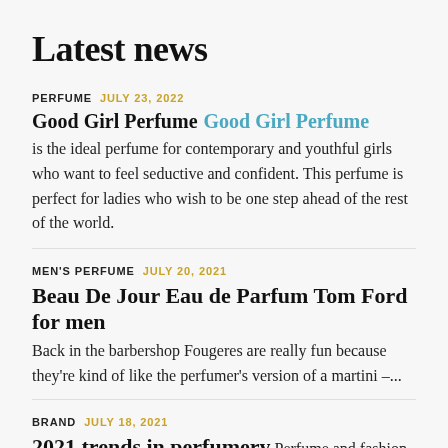Latest news
PERFUME   JULY 23, 2022
Good Girl Perfume Good Girl Perfume is the ideal perfume for contemporary and youthful girls who want to feel seductive and confident. This perfume is perfect for ladies who wish to be one step ahead of the rest of the world.
MEN'S PERFUME   JULY 20, 2021
Beau De Jour Eau de Parfum Tom Ford for men Back in the barbershop Fougeres are really fun because they're kind of like the perfumer's version of a martini -...
BRAND   JULY 18, 2021
2021 trends in perfumery Perfume and fashion are